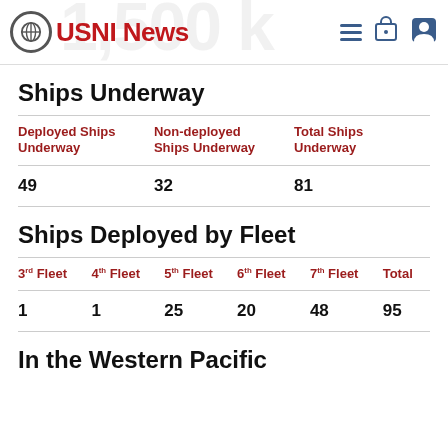USNI News
Ships Underway
| Deployed Ships Underway | Non-deployed Ships Underway | Total Ships Underway |
| --- | --- | --- |
| 49 | 32 | 81 |
Ships Deployed by Fleet
| 3rd Fleet | 4th Fleet | 5th Fleet | 6th Fleet | 7th Fleet | Total |
| --- | --- | --- | --- | --- | --- |
| 1 | 1 | 25 | 20 | 48 | 95 |
In the Western Pacific